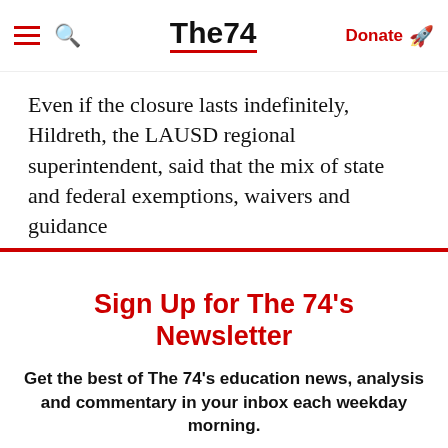The74 — Donate
Even if the closure lasts indefinitely, Hildreth, the LAUSD regional superintendent, said that the mix of state and federal exemptions, waivers and guidance
Sign Up for The 74's Newsletter
Get the best of The 74's education news, analysis and commentary in your inbox each weekday morning.
Subscribe